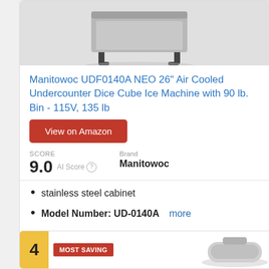[Figure (photo): Product photo of Manitowoc UDF0140A NEO ice machine, showing undercounter unit with legs, silver/grey body]
Manitowoc UDF0140A NEO 26" Air Cooled Undercounter Dice Cube Ice Machine with 90 lb. Bin - 115V, 135 lb
View on Amazon
SCORE
9.0  AI Score
Brand
Manitowoc
stainless steel cabinet
Model Number: UD-0140A   more
4  MOST SAVING